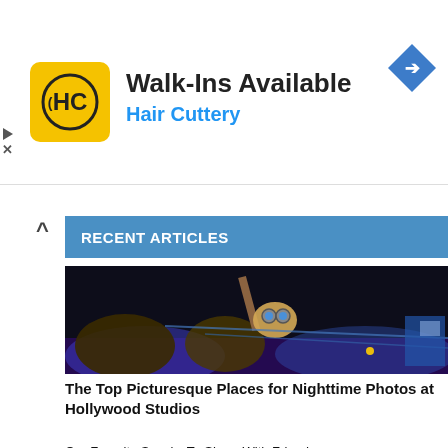[Figure (other): Hair Cuttery advertisement banner with HC logo on yellow square background, text 'Walk-Ins Available' and 'Hair Cuttery' in blue, blue diamond arrow icon on right]
RECENT ARTICLES
[Figure (photo): Nighttime photo of a theme park attraction at Hollywood Studios with illuminated structures against a dark sky, trees visible in foreground]
The Top Picturesque Places for Nighttime Photos at Hollywood Studios
Our Favorite Snacks To Share With Friends